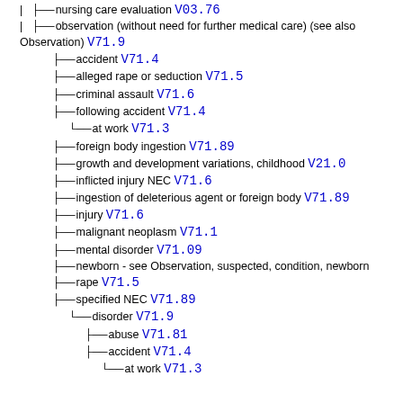nursing care evaluation V03.76
observation (without need for further medical care) (see also Observation) V71.9
accident V71.4
alleged rape or seduction V71.5
criminal assault V71.6
following accident V71.4
at work V71.3
foreign body ingestion V71.89
growth and development variations, childhood V21.0
inflicted injury NEC V71.6
ingestion of deleterious agent or foreign body V71.89
injury V71.6
malignant neoplasm V71.1
mental disorder V71.09
newborn - see Observation, suspected, condition, newborn
rape V71.5
specified NEC V71.89
disorder V71.9
abuse V71.81
accident V71.4
at work V71.3